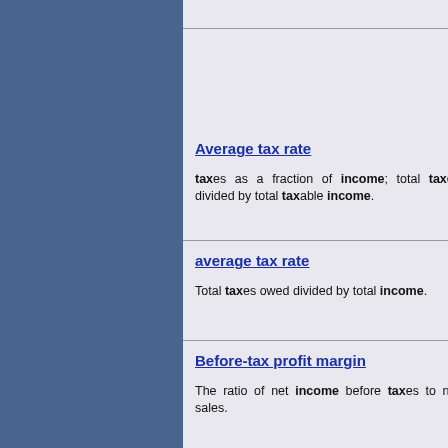Average tax rate
taxes as a fraction of income; total taxes divided by total taxable income.
average tax rate
Total taxes owed divided by total income.
Before-tax profit margin
The ratio of net income before taxes to net sales.